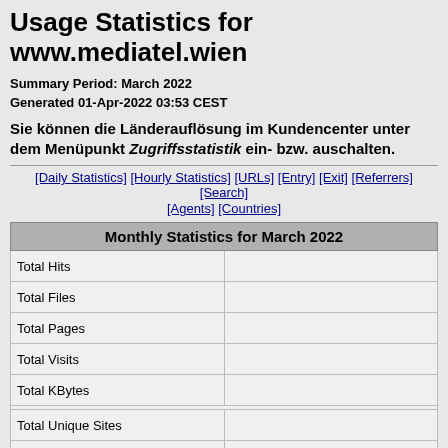Usage Statistics for www.mediatel.wien
Summary Period: March 2022
Generated 01-Apr-2022 03:53 CEST
Sie können die Länderauflösung im Kundencenter unter dem Menüpunkt Zugriffsstatistik ein- bzw. auschalten.
[Daily Statistics] [Hourly Statistics] [URLs] [Entry] [Exit] [Referrers] [Search] [Agents] [Countries]
| Monthly Statistics for March 2022 |  |
| --- | --- |
| Total Hits |  |
| Total Files |  |
| Total Pages |  |
| Total Visits |  |
| Total KBytes |  |
| Total Unique Sites |  |
| Total Unique URLs |  |
| Total Unique Referrers |  |
| Total Unique User Agents |  |